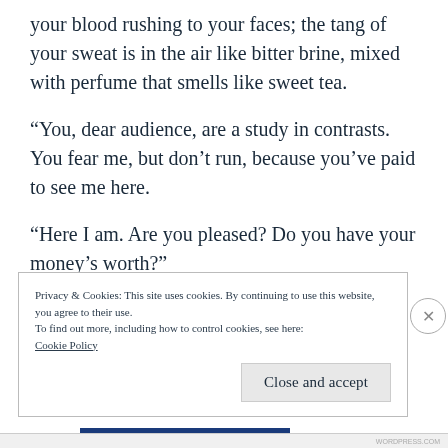your blood rushing to your faces; the tang of your sweat is in the air like bitter brine, mixed with perfume that smells like sweet tea.
“You, dear audience, are a study in contrasts. You fear me, but don’t run, because you’ve paid to see me here.
“Here I am. Are you pleased? Do you have your money’s worth?”
Privacy & Cookies: This site uses cookies. By continuing to use this website, you agree to their use.
To find out more, including how to control cookies, see here:
Cookie Policy